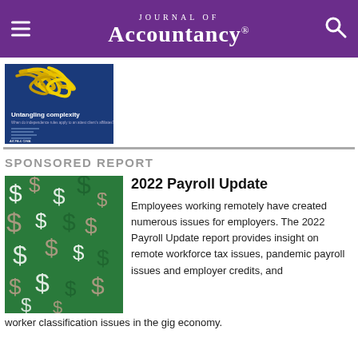Journal of Accountancy
[Figure (photo): Magazine cover showing tangled yellow lines on blue background with text 'Untangling complexity'. AICPA & CIMA logo at bottom.]
SPONSORED REPORT
2022 Payroll Update
Employees working remotely have created numerous issues for employers. The 2022 Payroll Update report provides insight on remote workforce tax issues, pandemic payroll issues and employer credits, and worker classification issues in the gig economy.
[Figure (photo): Green background covered with dollar signs ($) in various colors — white, pink, and darker green.]